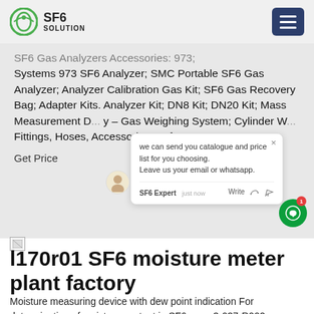SF6 SOLUTION
Systems 973 SF6 Analyzer; SMC Portable SF6 Gas Analyzer; Analyzer Calibration Gas Kit; SF6 Gas Recovery Bag; Adapter Kits. Analyzer Kit; DN8 Kit; DN20 Kit; Mass Measurement D... y – Gas Weighing System; Cylinder W... Fittings, Hoses, Accessories; Safety...
Get Price
[Figure (screenshot): Chat popup overlay with text: we can send you catalogue and price list for you choosing. Leave us your email or whatsapp. SF6 Expert just now. Write.]
l170r01 SF6 moisture meter plant factory
Moisture measuring device with dew point indication For determination of moisture content in SF6 gas . 3-037-R002. Moisture is the most important criteria for the determination of the gas...